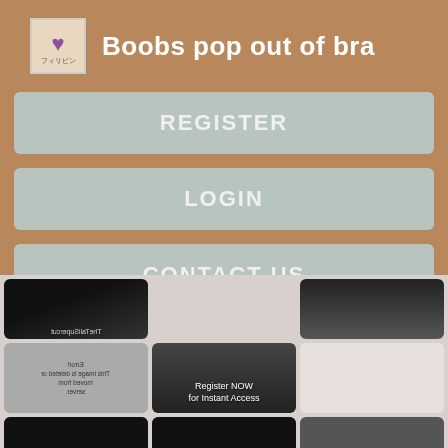Boobs pop out of bra
REGISTER
LOGIN
CONTACT US
[Figure (screenshot): Grid of thumbnail images below the navigation buttons, showing various video thumbnails, some with 'Register NOW for Instant Access' overlay text and one with an image error message.]